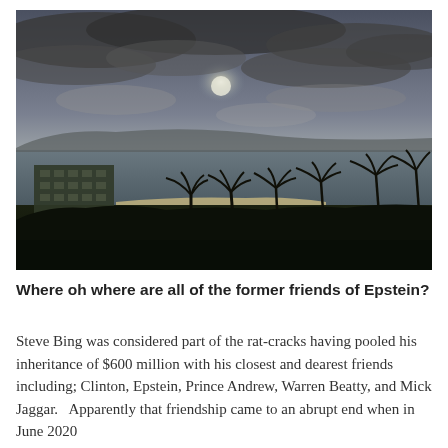[Figure (photo): Aerial or elevated view of a tropical coastal scene — cloudy dramatic sky with sun partially obscured, calm ocean water, distant mountain range, palm trees along a beach, and a multi-story hotel or resort building on the left.]
Where oh where are all of the former friends of Epstein?
Steve Bing was considered part of the rat-cracks having pooled his inheritance of $600 million with his closest and dearest friends including; Clinton, Epstein, Prince Andrew, Warren Beatty, and Mick Jaggar.   Apparently that friendship came to an abrupt end when in June 2020